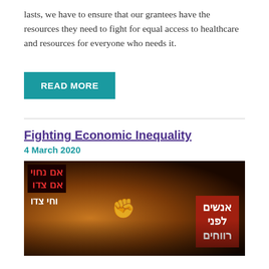lasts, we have to ensure that our grantees have the resources they need to fight for equal access to healthcare and resources for everyone who needs it.
READ MORE
Fighting Economic Inequality
4 March 2020
[Figure (photo): Protest crowd with raised fists and signs in Hebrew text, including a red sign reading in Hebrew (people before profits), Israeli flag visible in background, nighttime rally scene.]